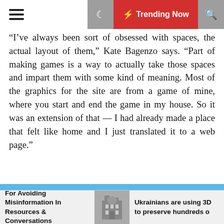☰ 🌙 ⚡ Trending Now 🔍
“I’ve always been sort of obsessed with spaces, the actual layout of them,” Kate Bagenzo says. “Part of making games is a way to actually take those spaces and impart them with some kind of meaning. Most of the graphics for the site are from a game of mine, where you start and end the game in my house. So it was an extension of that — I had already made a place that felt like home and I just translated it to a web page.”
[Figure (screenshot): Screenshot of Kate Bagenzo’s retro-style personal website game, showing a colorful illustrated room/house interface with a light blue sky background. Left panel shows cartoon character and game elements on yellow background; right panel shows a teal grid-based room with furniture items.]
For Avoiding Misinformation In Resources & Conversations
Ukrainians are using 3D to preserve hundreds o